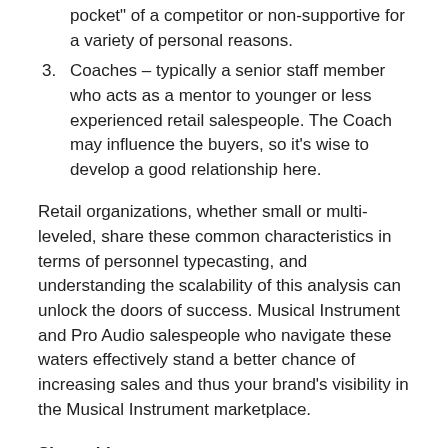pocket" of a competitor or non-supportive for a variety of personal reasons.
Coaches – typically a senior staff member who acts as a mentor to younger or less experienced retail salespeople. The Coach may influence the buyers, so it’s wise to develop a good relationship here.
Retail organizations, whether small or multi-leveled, share these common characteristics in terms of personnel typecasting, and understanding the scalability of this analysis can unlock the doors of success. Musical Instrument and Pro Audio salespeople who navigate these waters effectively stand a better chance of increasing sales and thus your brand’s visibility in the Musical Instrument marketplace.
Share this:
[Figure (illustration): Three social media icon buttons: Twitter (bird icon), Facebook (f icon), LinkedIn (in icon), all with rounded square grey backgrounds.]
Filed Under: Partnerships